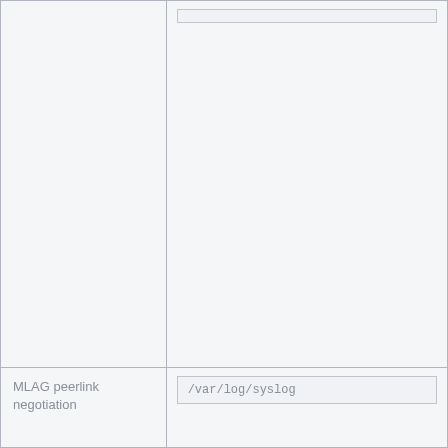|  |  |
| MLAG peerlink negotiation | /var/log/syslog |